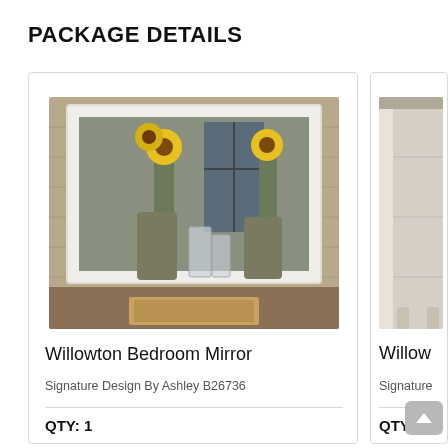PACKAGE DETAILS
[Figure (photo): Willowton Bedroom Mirror product photo: a white-framed rectangular mirror reflecting sunflowers in vases and glass candle holders on a dresser surface, with a wood paneled wall background]
Willowton Bedroom Mirror
Signature Design By Ashley B26736
QTY:  1
[Figure (photo): Partial view of a Willowton bedroom furniture piece (dresser or chest) with white/cream finish, cropped at right edge of page]
Willow
Signature
QTY: 1